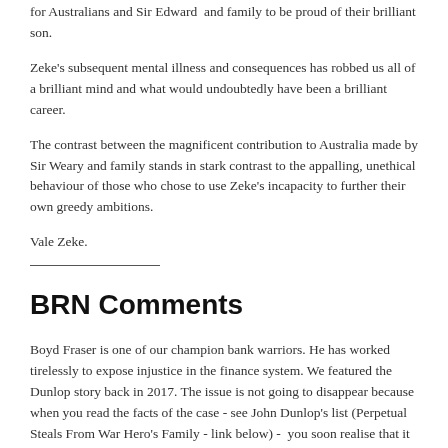for Australians and Sir Edward  and family to be proud of their brilliant son.
Zeke's subsequent mental illness and consequences has robbed us all of a brilliant mind and what would undoubtedly have been a brilliant career.
The contrast between the magnificent contribution to Australia made by Sir Weary and family stands in stark contrast to the appalling, unethical behaviour of those who chose to use Zeke's incapacity to further their own greedy ambitions.
Vale Zeke.
BRN Comments
Boyd Fraser is one of our champion bank warriors. He has worked tirelessly to expose injustice in the finance system. We featured the Dunlop story back in 2017. The issue is not going to disappear because when you read the facts of the case - see John Dunlop's list (Perpetual Steals From War Hero's Family - link below) -  you soon realise that it is unbelievable that large corporations can allow profits to grow from these